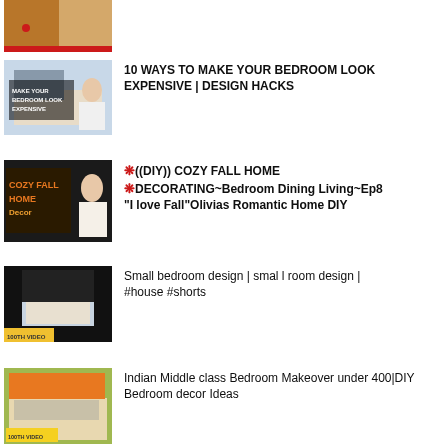[Figure (screenshot): Partially visible video thumbnail at top of page showing a woman]
[Figure (screenshot): Video thumbnail: Make Your Bedroom Look Expensive]
10 WAYS TO MAKE YOUR BEDROOM LOOK EXPENSIVE | DESIGN HACKS
[Figure (screenshot): Video thumbnail: Cozy Fall Home Decor]
((DIY)) COZY FALL HOME DECORATING~Bedroom Dining Living~Ep8 "I love Fall"Olivias Romantic Home DIY
[Figure (screenshot): Video thumbnail: Small bedroom design, dark background with bedroom image]
Small bedroom design | smal l room design | #house #shorts
[Figure (screenshot): Video thumbnail: Indian Middle class Bedroom Makeover]
Indian Middle class Bedroom Makeover under 400|DIY Bedroom decor Ideas